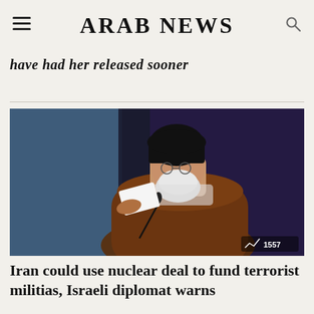ARAB NEWS
have had her released sooner
[Figure (photo): A cleric in black turban and brown robe holding a piece of paper, speaking at a lectern with microphones, in front of a decorative blue background. Image badge shows a trending icon and the number 1557.]
Iran could use nuclear deal to fund terrorist militias, Israeli diplomat warns